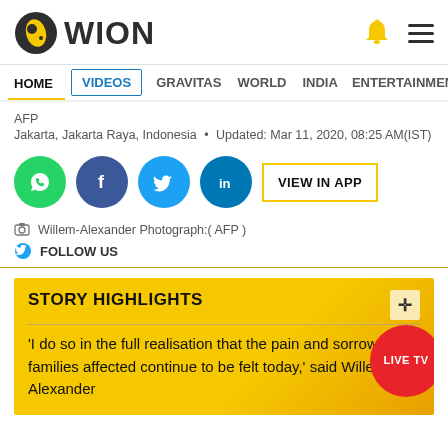WION
HOME VIDEOS GRAVITAS WORLD INDIA ENTERTAINMENT SPORTS
AFP
Jakarta, Jakarta Raya, Indonesia • Updated: Mar 11, 2020, 08:25 AM(IST)
[Figure (screenshot): Social share buttons: WhatsApp, Facebook, Twitter, LinkedIn, VIEW IN APP button]
Willem-Alexander Photograph:( AFP )
FOLLOW US
STORY HIGHLIGHTS
'I do so in the full realisation that the pain and sorrow families affected continue to be felt today,' said Willem-Alexander